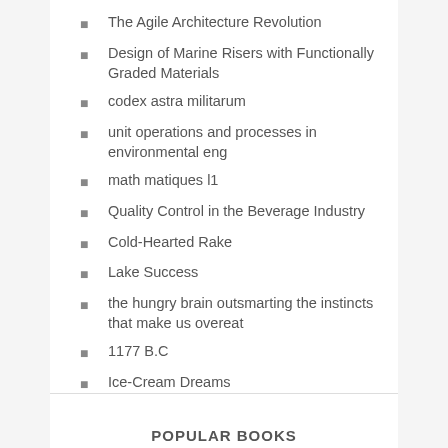The Agile Architecture Revolution
Design of Marine Risers with Functionally Graded Materials
codex astra militarum
unit operations and processes in environmental eng
math matiques l1
Quality Control in the Beverage Industry
Cold-Hearted Rake
Lake Success
the hungry brain outsmarting the instincts that make us overeat
1177 B.C
Ice-Cream Dreams
POPULAR BOOKS